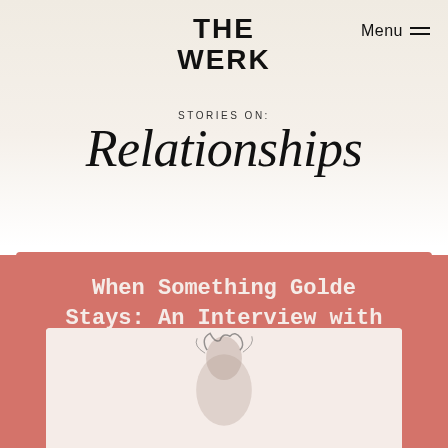THE WERK
Menu
STORIES ON:
Relationships
When Something Golde Stays: An Interview with Golde's Co-CEOs
[Figure (photo): Partial view of a photo showing a person, bottom portion visible at the base of the article card]